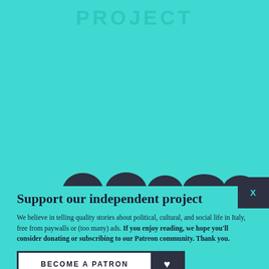PROJECT
[Figure (illustration): Five dark silhouettes of human heads/hair cropped at the top, partially visible from behind white blocks on sides.]
Support our independent project
We believe in telling quality stories about political, cultural, and social life in Italy, free from paywalls or (too many) ads. If you enjoy reading, we hope you'll consider donating or subscribing to our Patreon community. Thank you.
BECOME A PATRON ♥
DONATE ♥
Follow us: Facebook Instagram Twitter